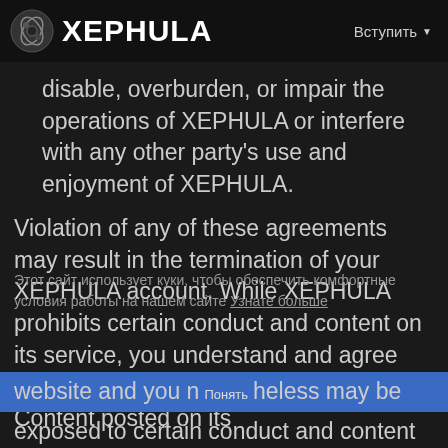XEPHULA  Вступить
disable, overburden, or impair the operations of XEPHULA or interfere with any other party's use and enjoyment of XEPHULA.
Violation of any of these agreements may result in the termination of your XEPHULA account. While XEPHULA prohibits certain conduct and content on its service, you understand and agree that XEPHULA is not responsible for the Content posted on its website and you nonetheless may be exposed to certain conduct and content
Этот сайт использует куки, чтобы обеспечить комфортные условия работы на нашем сайте Узнате больше